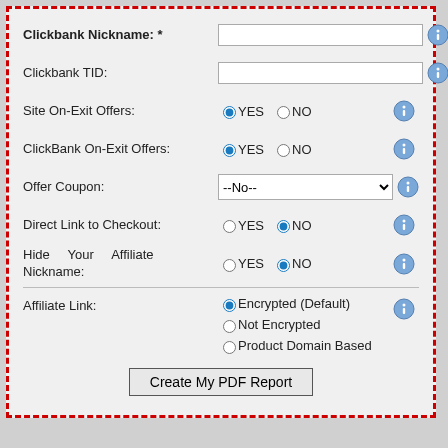[Figure (screenshot): Web form with fields: Clickbank Nickname (required, text input), Clickbank TID (text input), Site On-Exit Offers (YES/NO radio), ClickBank On-Exit Offers (YES/NO radio), Offer Coupon (dropdown --No--), Direct Link to Checkout (YES/NO radio), Hide Your Affiliate Nickname (YES/NO radio), Affiliate Link (radio: Encrypted Default, Not Encrypted, Product Domain Based), Create My PDF Report button. Each row has an info icon. Form is in a dashed red border box on grey background.]